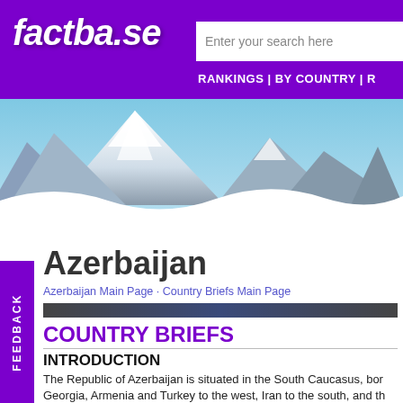factba.se
Enter your search here
RANKINGS | BY COUNTRY | R
[Figure (photo): Snow-capped mountain range with blue sky background, serving as decorative header image for factba.se country brief page.]
Azerbaijan
Azerbaijan Main Page · Country Briefs Main Page
COUNTRY BRIEFS
INTRODUCTION
The Republic of Azerbaijan is situated in the South Caucasus, bor Georgia, Armenia and Turkey to the west, Iran to the south, and th Baku. Covering a total of 86,600 square kilometres, Azerbaijan is a territory comprising the wooded mountains of the Greater and...